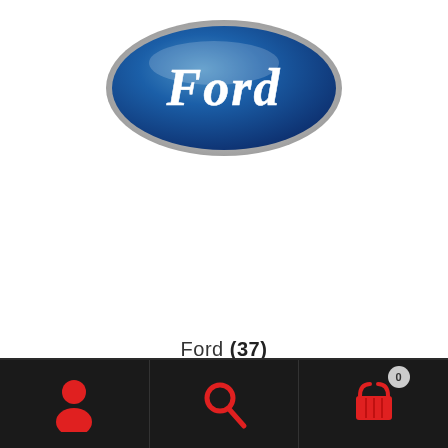[Figure (logo): Ford oval logo — blue ellipse with white cursive Ford wordmark and silver border]
Ford (37)
[Figure (infographic): Mobile app bottom navigation bar with three icons: user/account icon (red), search icon (red), and shopping cart icon (red) with badge showing 0]